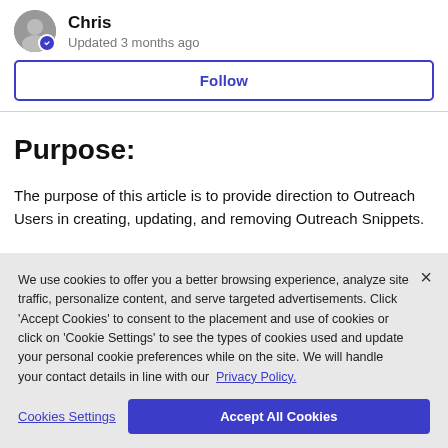Chris
Updated 3 months ago
Follow
Purpose:
The purpose of this article is to provide direction to Outreach Users in creating, updating, and removing Outreach Snippets.
We use cookies to offer you a better browsing experience, analyze site traffic, personalize content, and serve targeted advertisements. Click 'Accept Cookies' to consent to the placement and use of cookies or click on 'Cookie Settings' to see the types of cookies used and update your personal cookie preferences while on the site. We will handle your contact details in line with our Privacy Policy.
Cookies Settings
Accept All Cookies